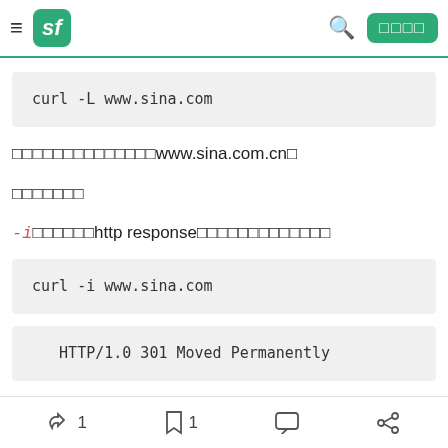sf (SegmentFault) navigation header with logo, search, and login button
curl -L www.sina.com
（跳转到了www.sina.com.cn）
显示返回头
-i参数可以输出http response的头信息，和返回内容
curl -i www.sina.com
HTTP/1.0 301 Moved Permanently
👍 1   🔖 1   💬   Share